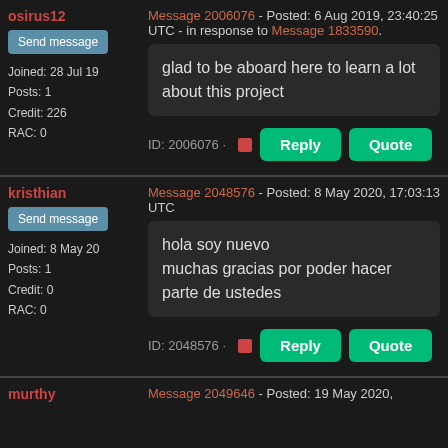osirus12
Send message
Joined: 28 Jul 19
Posts: 1
Credit: 226
RAC: 0
Message 2006076 - Posted: 6 Aug 2019, 23:40:25 UTC - in response to Message 1833590.
glad to be aboard here to learn a lot about this project
ID: 2006076 · Reply Quote
kristhian
Send message
Joined: 8 May 20
Posts: 1
Credit: 0
RAC: 0
Message 2048576 - Posted: 8 May 2020, 17:03:13 UTC
hola soy nuevo
muchas gracias por poder hacer parte de ustedes
ID: 2048576 · Reply Quote
murthy
Message 2049646 - Posted: 19 May 2020,